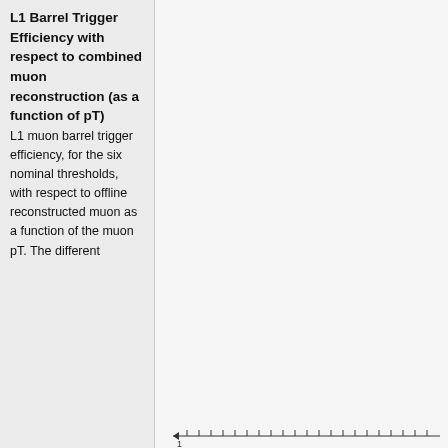L1 Barrel Trigger Efficiency with respect to combined muon reconstruction (as a function of pT)
L1 muon barrel trigger efficiency, for the six nominal thresholds, with respect to offline reconstructed muon as a function of the muon pT. The different
[Figure (continuous-plot): Partial view of a plot showing axis tick marks along the bottom edge. The main chart area is mostly empty/light gray in this crop, with tick marks visible at the bottom.]